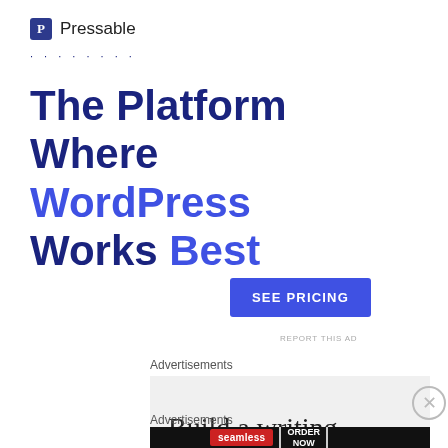[Figure (logo): Pressable logo: blue square icon with letter P and the word Pressable]
· · · · · · · · ·
The Platform Where WordPress Works Best
[Figure (other): SEE PRICING button — blue rectangular CTA button]
REPORT THIS AD
Advertisements
[Figure (other): Advertisement box showing partial text: Build a writing habit. Da...]
[Figure (other): Advertisement banner for Seamless food delivery with ORDER NOW button]